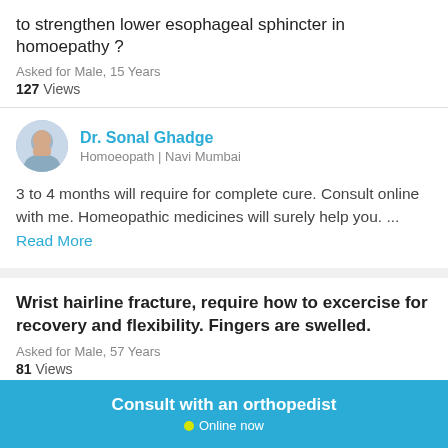to strengthen lower esophageal sphincter in homoepathy ?
Asked for Male, 15 Years
127 Views
Dr. Sonal Ghadge
Homoeopath | Navi Mumbai
3 to 4 months will require for complete cure. Consult online with me. Homeopathic medicines will surely help you. ... Read More
Wrist hairline fracture, require how to excercise for recovery and flexibility. Fingers are swelled.
Asked for Male, 57 Years
81 Views
Consult with an orthopedist
Online now